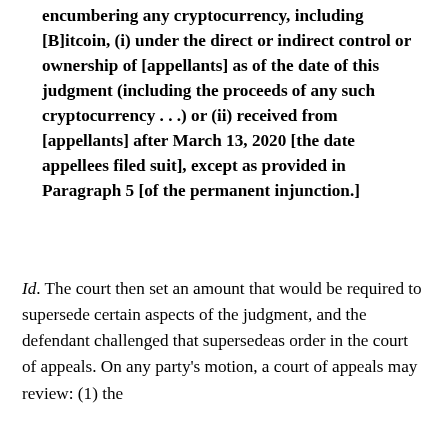encumbering any cryptocurrency, including [B]itcoin, (i) under the direct or indirect control or ownership of [appellants] as of the date of this judgment (including the proceeds of any such cryptocurrency . . .) or (ii) received from [appellants] after March 13, 2020 [the date appellees filed suit], except as provided in Paragraph 5 [of the permanent injunction.]
Id. The court then set an amount that would be required to supersede certain aspects of the judgment, and the defendant challenged that supersedeas order in the court of appeals. On any party's motion, a court of appeals may review: (1) the